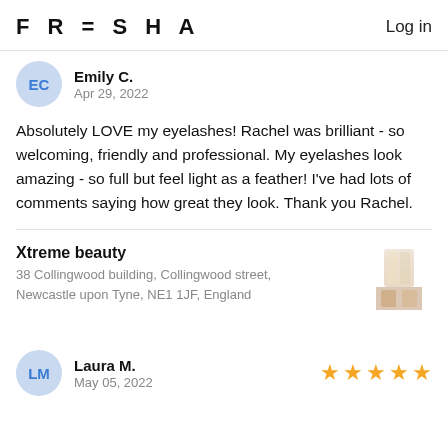FRESHA   Log in
Emily C.
Apr 29, 2022
Absolutely LOVE my eyelashes! Rachel was brilliant - so welcoming, friendly and professional. My eyelashes look amazing - so full but feel light as a feather! I've had lots of comments saying how great they look. Thank you Rachel.
Xtreme beauty
38 Collingwood building, Collingwood street, Newcastle upon Tyne, NE1 1JF, England
[Figure (photo): Thumbnail photo of Xtreme beauty salon interior]
Laura M.
May 05, 2022